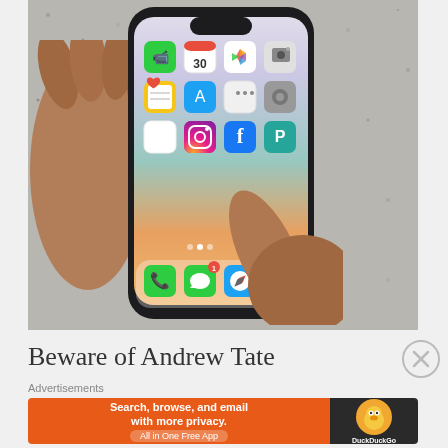[Figure (photo): A person's hands holding an iPhone showing the home screen with various app icons including FaceTime, Calendar, Photos, Camera, Notes, App Store, Settings, Health, Instagram, Facebook, an unidentified teal icon, and dock icons for Phone, Messages, Safari, and Music. A finger is pressing on the screen. The phone is placed on a speckled granite surface.]
Beware of Andrew Tate
Advertisements
[Figure (screenshot): Advertisement banner for DuckDuckGo: 'Search, browse, and email with more privacy. All in One Free App' on an orange background with the DuckDuckGo logo on dark background.]